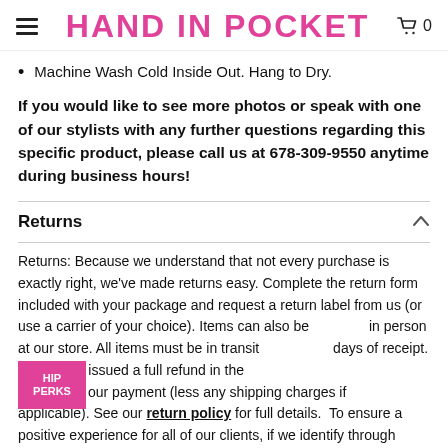HAND IN POCKET
Machine Wash Cold Inside Out. Hang to Dry.
If you would like to see more photos or speak with one of our stylists with any further questions regarding this specific product, please call us at 678-309-9550 anytime during business hours!
Returns
Returns: Because we understand that not every purchase is exactly right, we've made returns easy. Complete the return form included with your package and request a return label from us (or use a carrier of your choice). Items can also be returned in person at our store. All items must be in transit within days of receipt. You will be issued a full refund in the original payment (less any shipping charges if applicable). See our return policy for full details. To ensure a positive experience for all of our clients, if we identify through